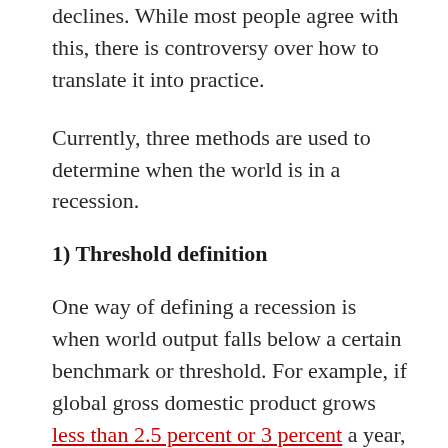declines. While most people agree with this, there is controversy over how to translate it into practice.
Currently, three methods are used to determine when the world is in a recession.
1) Threshold definition
One way of defining a recession is when world output falls below a certain benchmark or threshold. For example, if global gross domestic product grows less than 2.5 percent or 3 percent a year, that means the world is in a recession.
It's a yardstick the International Monetary Fund has used in the past and